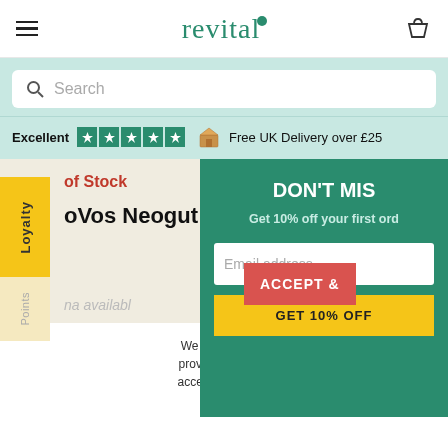[Figure (screenshot): Revital website header with hamburger menu, logo, and basket icon]
[Figure (screenshot): Search bar on teal background]
Excellent ★★★★★ Free UK Delivery over £25
of Stock
oVos Neogut Test
na availabl
DON'T MIS
Get 10% off your first ord
Email address
GET 10% OFF
ACCEPT &
We use cookies to give the best expe provide personalized ads and content. accepts the use of Cookies on this site
POLICY